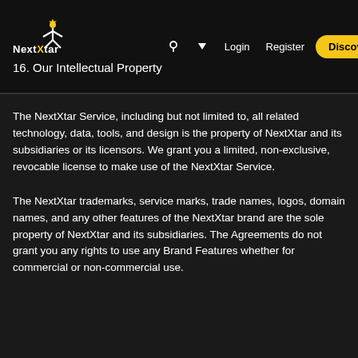[Figure (logo): NextXtar logo — stylized X figure with star, white on dark background, text 'NextXtar']
16. Our Intellectual Property
Login  Register  Discover  ≡
The NextXtar Service, including but not limited to, all related technology, data, tools, and design is the property of NextXtar and its subsidiaries or its licensors. We grant you a limited, non-exclusive, revocable license to make use of the NextXtar Service.
The NextXtar trademarks, service marks, trade names, logos, domain names, and any other features of the NextXtar brand are the sole property of NextXtar and its subsidiaries. The Agreements do not grant you any rights to use any Brand Features whether for commercial or non-commercial use.